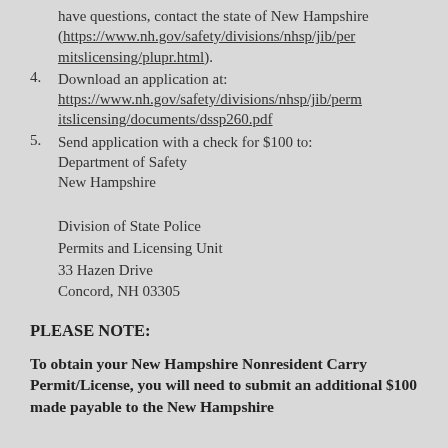(... have questions, contact the state of New Hampshire (https://www.nh.gov/safety/divisions/nhsp/jib/permitslicensing/plupr.html).
4. Download an application at: https://www.nh.gov/safety/divisions/nhsp/jib/permitslicensing/documents/dssp260.pdf
5. Send application with a check for $100 to: Department of Safety New Hampshire

Division of State Police
Permits and Licensing Unit
33 Hazen Drive
Concord, NH 03305
PLEASE NOTE:
To obtain your New Hampshire Nonresident Carry Permit/License, you will need to submit an additional $100 made payable to the New Hampshire